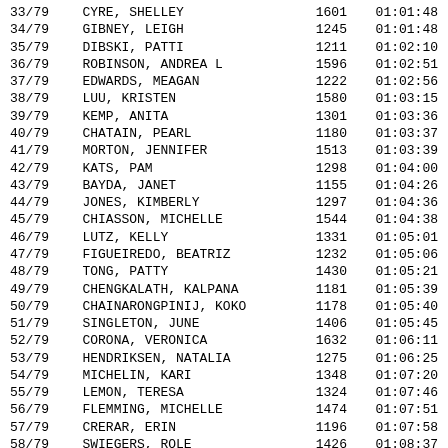| Rank | Name | Number | Time |
| --- | --- | --- | --- |
| 33/79 | CYRE, SHELLEY | 1601 | 01:01:48 |
| 34/79 | GIBNEY, LEIGH | 1245 | 01:01:48 |
| 35/79 | DIBSKI, PATTI | 1211 | 01:02:10 |
| 36/79 | ROBINSON, ANDREA L | 1596 | 01:02:51 |
| 37/79 | EDWARDS, MEAGAN | 1222 | 01:02:56 |
| 38/79 | LUU, KRISTEN | 1580 | 01:03:15 |
| 39/79 | KEMP, ANITA | 1301 | 01:03:36 |
| 40/79 | CHATAIN, PEARL | 1180 | 01:03:37 |
| 41/79 | MORTON, JENNIFER | 1513 | 01:03:39 |
| 42/79 | KATS, PAM | 1298 | 01:04:00 |
| 43/79 | BAYDA, JANET | 1155 | 01:04:26 |
| 44/79 | JONES, KIMBERLY | 1297 | 01:04:36 |
| 45/79 | CHIASSON, MICHELLE | 1544 | 01:04:38 |
| 46/79 | LUTZ, KELLY | 1331 | 01:05:01 |
| 47/79 | FIGUEIREDO, BEATRIZ | 1232 | 01:05:06 |
| 48/79 | TONG, PATTY | 1430 | 01:05:21 |
| 49/79 | CHENGKALATH, KALPANA | 1181 | 01:05:39 |
| 50/79 | CHAINARONGPINIJ, KOKO | 1178 | 01:05:40 |
| 51/79 | SINGLETON, JUNE | 1406 | 01:05:45 |
| 52/79 | CORONA, VERONICA | 1632 | 01:06:11 |
| 53/79 | HENDRIKSEN, NATALIA | 1275 | 01:06:25 |
| 54/79 | MICHELIN, KARI | 1348 | 01:07:20 |
| 55/79 | LEMON, TERESA | 1324 | 01:07:46 |
| 56/79 | FLEMMING, MICHELLE | 1474 | 01:07:51 |
| 57/79 | CRERAR, ERIN | 1196 | 01:07:58 |
| 58/79 | SWIEGERS, ROLE | 1426 | 01:08:37 |
| 59/79 | KRYGIER, NICKI | 1316 | 01:08:51 |
| 60/79 | HAWRYSCHUK, HOLLY | 1485 | 01:09:03 |
| 61/79 | REALUBIT, MARIE | 1380 | 01:09:07 |
| 62/79 | ABRAHAM, SALLY | 1138 | 01:09:41 |